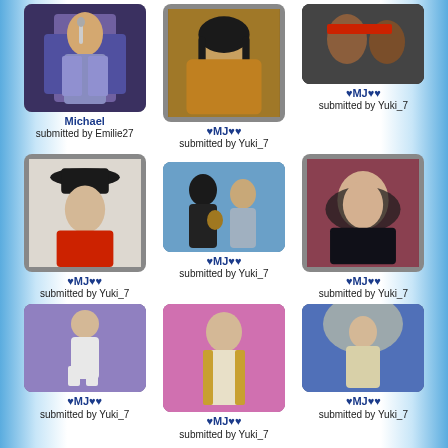[Figure (photo): Michael Jackson performing on stage in sequined jacket, singing into microphone]
Michael
submitted by Emilie27
[Figure (photo): Michael Jackson portrait in gold/black outfit with long hair]
♥MJ♥♥
submitted by Yuki_7
[Figure (photo): Michael Jackson smiling in red jacket, candid photo]
♥MJ♥♥
submitted by Yuki_7
[Figure (photo): Michael Jackson in black hat and red shirt]
♥MJ♥♥
submitted by Yuki_7
[Figure (photo): Michael Jackson with another person, playing guitar on stage]
♥MJ♥♥
submitted by Yuki_7
[Figure (photo): Michael Jackson portrait with black headscarf and dark clothing]
♥MJ♥♥
submitted by Yuki_7
[Figure (photo): Michael Jackson moonwalking on stage in white suit]
♥MJ♥♥
submitted by Yuki_7
[Figure (photo): Michael Jackson performing on stage in white military jacket with pink backdrop]
♥MJ♥♥
submitted by Yuki_7
[Figure (photo): Michael Jackson performing on stage in gold sequined outfit]
♥MJ♥♥
submitted by Yuki_7